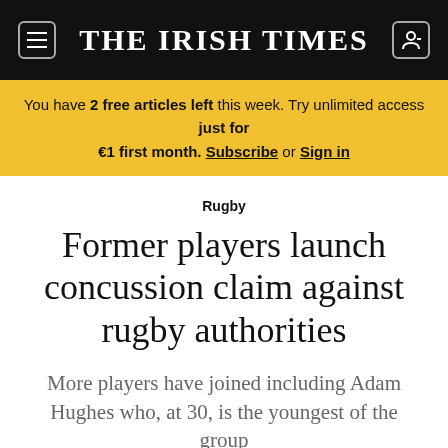THE IRISH TIMES
You have 2 free articles left this week. Try unlimited access just for €1 first month. Subscribe or Sign in
Rugby
Former players launch concussion claim against rugby authorities
More players have joined including Adam Hughes who, at 30, is the youngest of the group
Expand